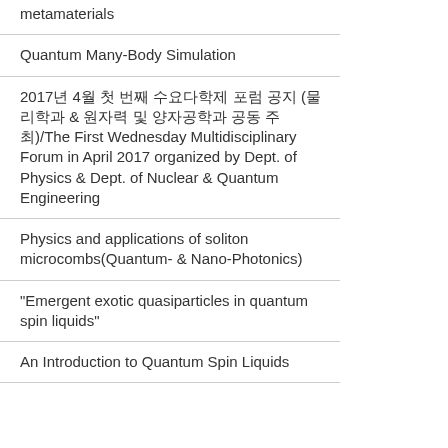metamaterials
Quantum Many-Body Simulation
2017년 4월 첫 번째 수요다학제 포럼 공지 (물리학과 & 원자력 및 양자공학과 공동 주최)/The First Wednesday Multidisciplinary Forum in April 2017 organized by Dept. of Physics & Dept. of Nuclear & Quantum Engineering
Physics and applications of soliton microcombs(Quantum- & Nano-Photonics)
“Emergent exotic quasiparticles in quantum spin liquids”
An Introduction to Quantum Spin Liquids